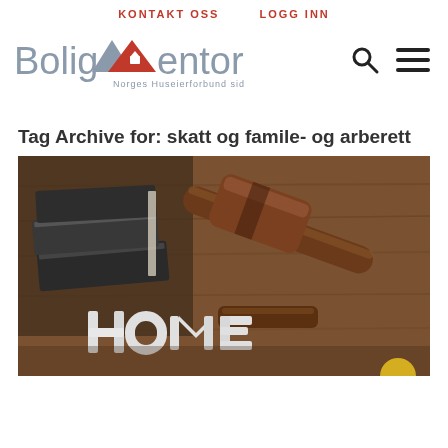KONTAKT OSS   LOGG INN
[Figure (logo): BoligMentoren logo with house icon and text 'Norges Huseierforbund siden 1912']
Tag Archive for: skatt og famile- og arberett
[Figure (photo): Photo of a wooden judge's gavel resting on a sound block next to stacked law books and white 3D letters spelling 'Home' on a wooden surface]